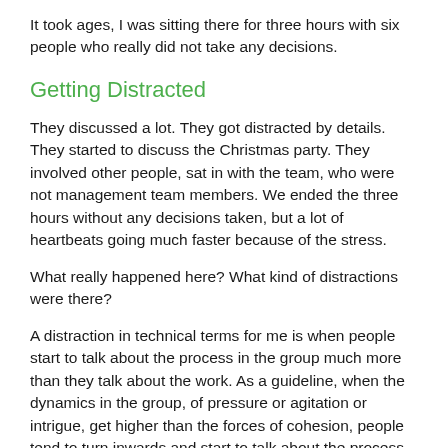It took ages, I was sitting there for three hours with six people who really did not take any decisions.
Getting Distracted
They discussed a lot. They got distracted by details. They started to discuss the Christmas party. They involved other people, sat in with the team, who were not management team members. We ended the three hours without any decisions taken, but a lot of heartbeats going much faster because of the stress.
What really happened here? What kind of distractions were there?
A distraction in technical terms for me is when people start to talk about the process in the group much more than they talk about the work. As a guideline, when the dynamics in the group, of pressure or agitation or intrigue, get higher than the forces of cohesion, people tend to turn inwards and start to talk about the process and the…